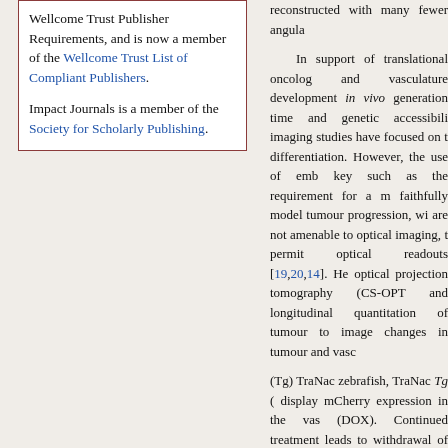Wellcome Trust Publisher Requirements, and is now a member of the Wellcome Trust List of Compliant Publishers.
Impact Journals is a member of the Society for Scholarly Publishing.
reconstructed with many fewer angula...
In support of translational oncolog... and vasculature development in vivo ... generation time and genetic accessibili... imaging studies have focused on th... differentiation. However, the use of emb... key such as the requirement for a m... faithfully model tumour progression, wi... are not amenable to optical imaging, t... permit optical readouts [19,20,14]. He... optical projection tomography (CS-OPT... and longitudinal quantitation of tumour... to image changes in tumour and vasc...
(Tg) TraNac zebrafish, TraNac Tg (... display mCherry expression in the vas... (DOX). Continued treatment leads to... withdrawal of DOX [21].
RESULTS AND DISCUSSION
Figure 1 shows the configuration... zebrafish. To increase light collection e... approximately 0.5x magnification focus... limited resolution of 26 μm. As describ...